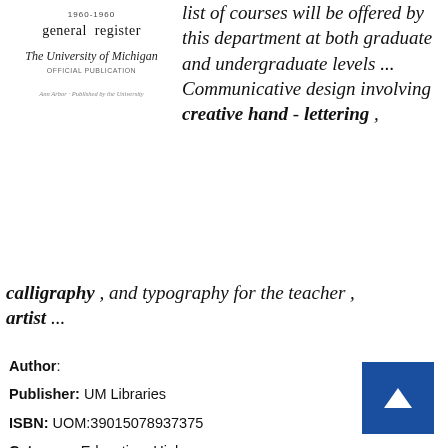[Figure (illustration): Book cover image: '1960-1960 general register' from The University of Michigan official publication, with a small publisher credit line below.]
list of courses will be offered by this department at both graduate and undergraduate levels ... Communicative design involving creative hand - lettering , calligraphy , and typography for the teacher , artist ...
Author:
Publisher: UM Libraries
ISBN: UOM:39015078937375
Category: Education, Higher
Page:
View: 110